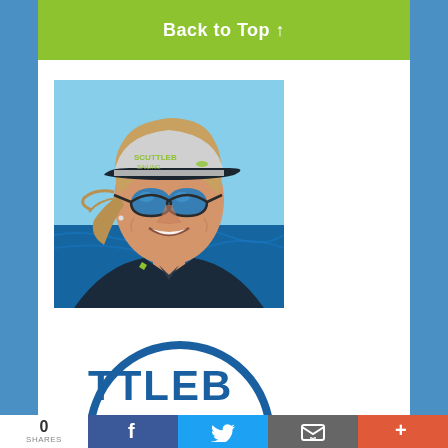Back to Top ↑
[Figure (photo): Woman wearing a Scuttlebutt Sailing News cap and blue mirrored aviator sunglasses, smiling, outdoors on a boat with ocean and sky in the background, wearing a dark sailing jacket]
[Figure (logo): Scuttlebutt Sailing News circular logo, partially visible at bottom of page — blue circle with white text reading TTLEBU (partial)]
0 SHARES
[Figure (infographic): Social sharing bar with Facebook (blue), Twitter (light blue), Email (grey), and More (red/orange) buttons]